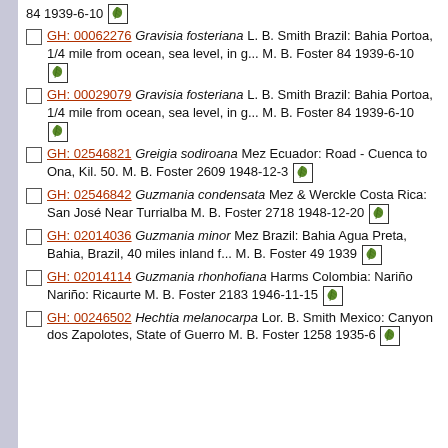84 1939-6-10 [leaf icon]
GH: 00062276 Gravisia fosteriana L. B. Smith Brazil: Bahia Portoa, 1/4 mile from ocean, sea level, in g... M. B. Foster 84 1939-6-10 [leaf icon]
GH: 00029079 Gravisia fosteriana L. B. Smith Brazil: Bahia Portoa, 1/4 mile from ocean, sea level, in g... M. B. Foster 84 1939-6-10 [leaf icon]
GH: 02546821 Greigia sodiroana Mez Ecuador: Road - Cuenca to Ona, Kil. 50. M. B. Foster 2609 1948-12-3 [leaf icon]
GH: 02546842 Guzmania condensata Mez & Werckle Costa Rica: San José Near Turrialba M. B. Foster 2718 1948-12-20 [leaf icon]
GH: 02014036 Guzmania minor Mez Brazil: Bahia Agua Preta, Bahia, Brazil, 40 miles inland f... M. B. Foster 49 1939 [leaf icon]
GH: 02014114 Guzmania rhonhofiana Harms Colombia: Nariño Nariño: Ricaurte M. B. Foster 2183 1946-11-15 [leaf icon]
GH: 00246502 Hechtia melanocarpa Lor. B. Smith Mexico: Canyon dos Zapolotes, State of Guerro M. B. Foster 1258 1935-6 [leaf icon]